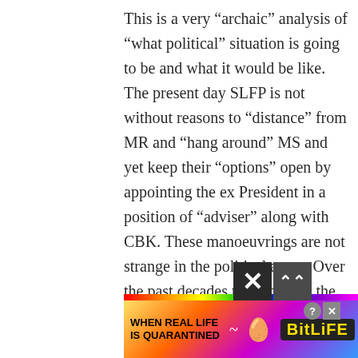This is a very “archaic” analysis of “what political” situation is going to be and what it would be like. The present day SLFP is not without reasons to “distance” from MR and “hang around” MS and yet keep their “options” open by appointing the ex President in a position of “adviser” along with CBK. These manoeuvrings are not strange in the political arena. Over the past decades these behind the stage plans have been hatched and executed to the precision; but not ANY MORE. The political “CLIMATE” is fast changing. A “Bit” of it we saw on Jan 08 2015. The present President, his Prime Minister and the Cabinet
[Figure (illustration): BitLife advertisement banner with rainbow background, text 'WHEN REAL LIFE IS QUARANTINED', sperm emoji graphic, BitLife logo in yellow on dark background, and star-eyes emoji with mask emoji. Close and question mark buttons in top right.]